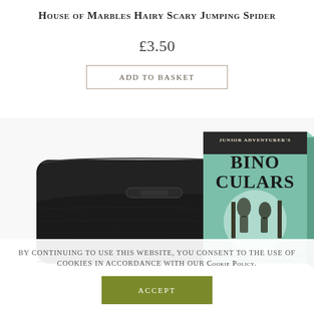House of Marbles Hairy Scary Jumping Spider
£3.50
Add to Basket
[Figure (photo): Product photo showing a black binocular case/pouch on the left and a green vintage-style 'Junior Adventurer's Binoculars' box on the right]
By continuing to use this website, you consent to the use of cookies in accordance with our Cookie Policy.
Accept